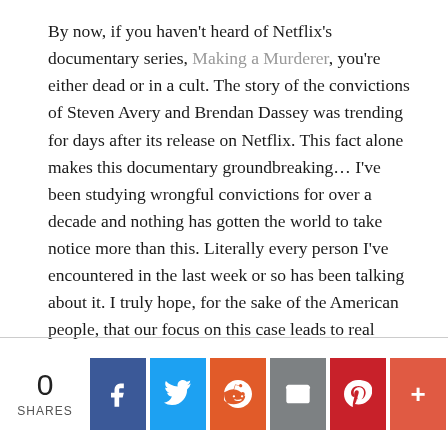By now, if you haven't heard of Netflix's documentary series, Making a Murderer, you're either dead or in a cult. The story of the convictions of Steven Avery and Brendan Dassey was trending for days after its release on Netflix. This fact alone makes this documentary groundbreaking… I've been studying wrongful convictions for over a decade and nothing has gotten the world to take notice more than this. Literally every person I've encountered in the last week or so has been talking about it. I truly hope, for the sake of the American people, that our focus on this case leads to real change.
0 SHARES | Facebook | Twitter | Reddit | Email | Pinterest | +